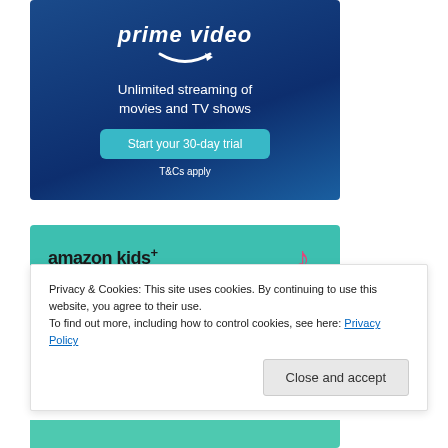[Figure (illustration): Amazon Prime Video advertisement banner with dark blue gradient background. Shows 'prime video' logo with Amazon smile arrow, text 'Unlimited streaming of movies and TV shows', a teal 'Start your 30-day trial' button, and 'T&Cs apply' text.]
[Figure (illustration): Amazon Kids+ advertisement banner with teal/green background. Shows 'amazon kids+' logo with Amazon smile arrow, and decorative music note and star icons on the right.]
Privacy & Cookies: This site uses cookies. By continuing to use this website, you agree to their use.
To find out more, including how to control cookies, see here: Privacy Policy
Close and accept